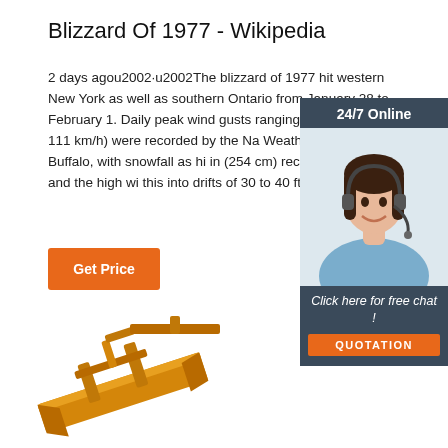Blizzard Of 1977 - Wikipedia
2 days agou2002·u2002The blizzard of 1977 hit western New York as well as southern Ontario from January 28 to February 1. Daily peak wind gusts ranging from mph (74 to 111 km/h) were recorded by the Na Weather Service in Buffalo, with snowfall as hi in (254 cm) recorded in areas, and the high wi this into drifts of 30 to 40 ft (9 to 12 m).
[Figure (illustration): Customer service agent with headset - 24/7 online chat widget with orange quotation button]
[Figure (photo): Yellow snow plow / snow blower equipment at bottom of page]